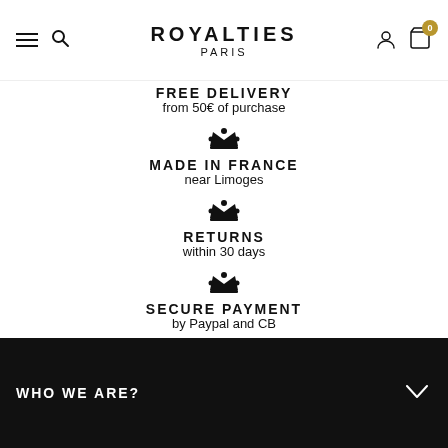ROYALTIES PARIS
FREE DELIVERY
from 50€ of purchase
MADE IN FRANCE
near Limoges
RETURNS
within 30 days
SECURE PAYMENT
by Paypal and CB
WHO WE ARE?